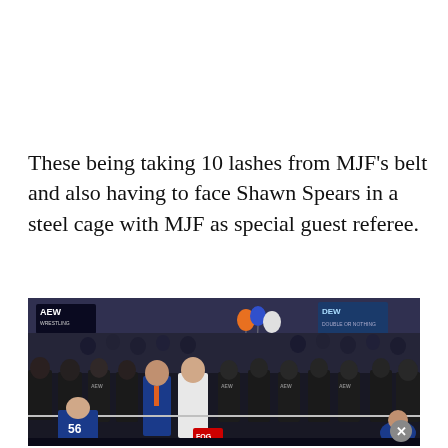These being taking 10 lashes from MJF's belt and also having to face Shawn Spears in a steel cage with MJF as special guest referee.
[Figure (photo): AEW wrestling event photo showing a man in a white suit and another in a blue outfit standing in the ring, surrounded by security personnel in black shirts. Colorful balloons visible in the background. AEW and DEW logos visible on screens.]